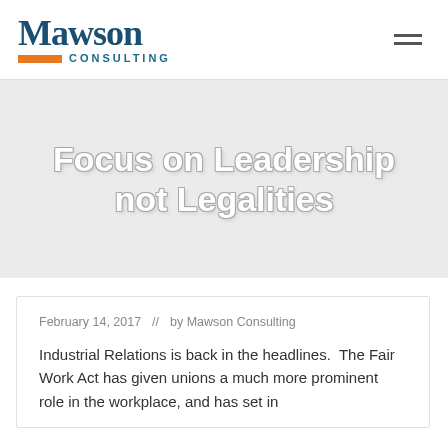Mawson Consulting
Focus on Leadership not Legalities
February 14, 2017  //  by Mawson Consulting
Industrial Relations is back in the headlines.  The Fair Work Act has given unions a much more prominent role in the workplace, and has set in